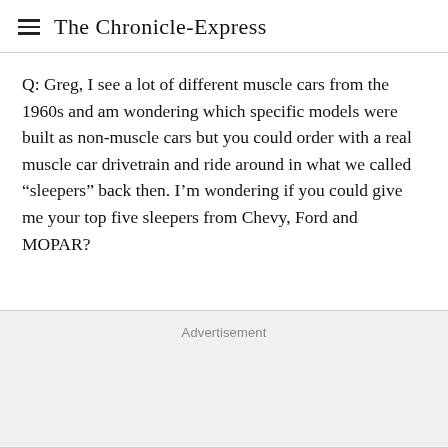The Chronicle-Express
Q: Greg, I see a lot of different muscle cars from the 1960s and am wondering which specific models were built as non-muscle cars but you could order with a real muscle car drivetrain and ride around in what we called “sleepers” back then. I’m wondering if you could give me your top five sleepers from Chevy, Ford and MOPAR?
Advertisement